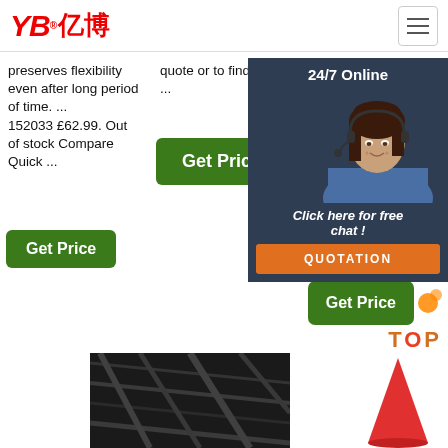YB亿博 logo and navigation
preserves flexibility even after long period of time. ... 152033 £62.99. Out of stock Compare Quick ...
quote or to find out a ...
rubber and plastics (exa... sur... hyd... indu... con... esc... buil... con... pro... ring... sup... pro...
[Figure (photo): Chat widget overlay with customer service woman wearing headset, '24/7 Online' header, 'Click here for free chat!' text, and QUOTATION button]
Get Price (button, column 1)
Get Price (button, column 2)
Get Price (button, bottom right)
[Figure (photo): Dark textured close-up image at bottom left]
[Figure (photo): Red/orange object at bottom right]